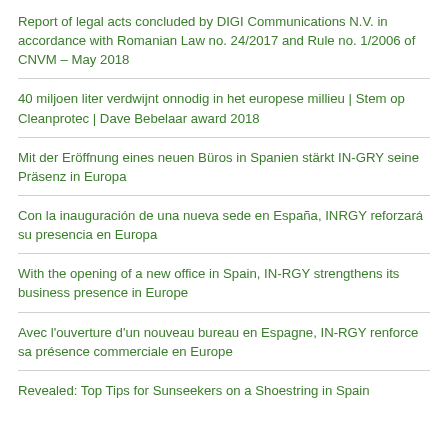Report of legal acts concluded by DIGI Communications N.V. in accordance with Romanian Law no. 24/2017 and Rule no. 1/2006 of CNVM – May 2018
40 miljoen liter verdwijnt onnodig in het europese millieu | Stem op Cleanprotec | Dave Bebelaar award 2018
Mit der Eröffnung eines neuen Büros in Spanien stärkt IN-GRY seine Präsenz in Europa
Con la inauguración de una nueva sede en España, INRGY reforzará su presencia en Europa
With the opening of a new office in Spain, IN-RGY strengthens its business presence in Europe
Avec l'ouverture d'un nouveau bureau en Espagne, IN-RGY renforce sa présence commerciale en Europe
Revealed: Top Tips for Sunseekers on a Shoestring in Spain